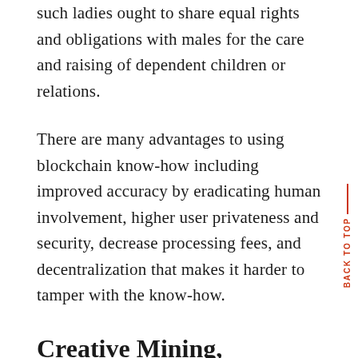such ladies ought to share equal rights and obligations with males for the care and raising of dependent children or relations.
There are many advantages to using blockchain know-how including improved accuracy by eradicating human involvement, higher user privateness and security, decrease processing fees, and decentralization that makes it harder to tamper with the know-how.
Creative Mining, Plantation, Forestry and Agryculture
See Texas Tax Code Part 151.025(d) and Rule 3.313(b)(2), Cable Tv Service and Bundle Cable